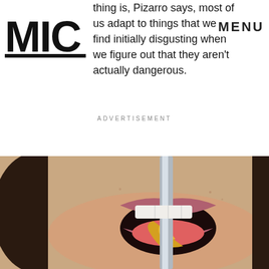MIC | MENU
thing is, Pizarro says, most of us adapt to things that we find initially disgusting when we figure out that they aren't actually dangerous.
ADVERTISEMENT
[Figure (photo): Close-up photo of a woman licking mustard or a yellow condiment off a knife blade, mouth open with tongue extended.]